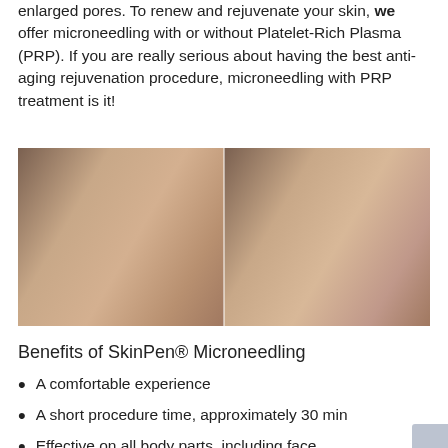enlarged pores. To renew and rejuvenate your skin, we offer microneedling with or without Platelet-Rich Plasma (PRP). If you are really serious about having the best anti-aging rejuvenation procedure, microneedling with PRP treatment is it!
[Figure (photo): Before and after side-by-side comparison photos of a woman's face showing skin improvement after microneedling treatment]
Benefits of SkinPen® Microneedling
A comfortable experience
A short procedure time, approximately 30 min
Effective on all body parts, including face,